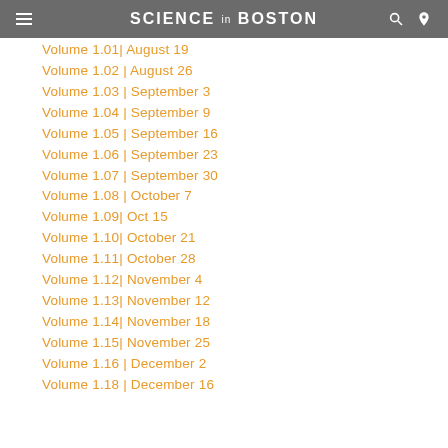SCIENCE in BOSTON
Volume 1.01| August 19
Volume 1.02 | August 26
Volume 1.03 | September 3
Volume 1.04 | September 9
Volume 1.05 | September 16
Volume 1.06 | September 23
Volume 1.07 | September 30
Volume 1.08 | October 7
Volume 1.09| Oct 15
Volume 1.10| October 21
Volume 1.11| October 28
Volume 1.12| November 4
Volume 1.13| November 12
Volume 1.14| November 18
Volume 1.15| November 25
Volume 1.16 | December 2
Volume 1.18 | December 16